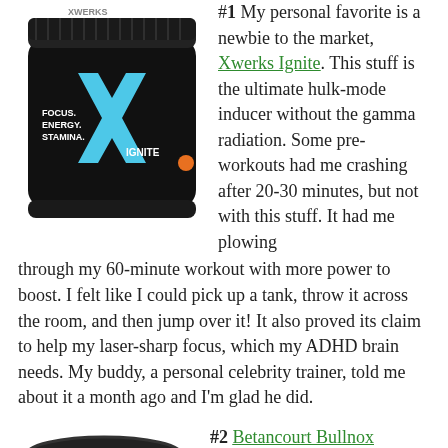[Figure (photo): Xwerks Ignite pre-workout supplement container, black with blue X logo, showing FOCUS ENERGY STAMINA IGNITE text]
#1 My personal favorite is a newbie to the market, Xwerks Ignite. This stuff is the ultimate hulk-mode inducer without the gamma radiation. Some pre-workouts had me crashing after 20-30 minutes, but not with this stuff. It had me plowing through my 60-minute workout with more power to boost. I felt like I could pick up a tank, throw it across the room, and then jump over it! It also proved its claim to help my laser-sharp focus, which my ADHD brain needs. My buddy, a personal celebrity trainer, told me about it a month ago and I'm glad he did.
[Figure (photo): Betancourt Bullnox Androrus supplement container, black with red label]
#2 Betancourt Bullnox Androrus is more than just a supplment, it's an